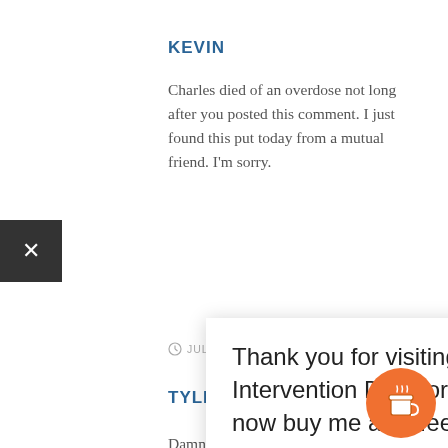KEVIN
Charles died of an overdose not long after you posted this comment. I just found this put today from a mutual friend. I'm sorry.
JULY 24, 2014
TYLER
Damn im so sorry brother.we lived together for 6months at same tr... ha... yo... ab... gr... ba... co...
especially your sister who are the
[Figure (other): Popup overlay with text: Thank you for visiting Intervention Directory. You can now buy me a coffee!]
[Figure (other): Orange circular coffee cup button in bottom right corner]